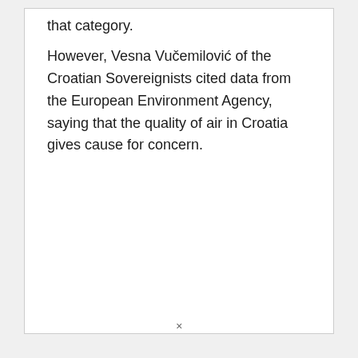that category.
However, Vesna Vučemilović of the Croatian Sovereignists cited data from the European Environment Agency, saying that the quality of air in Croatia gives cause for concern.